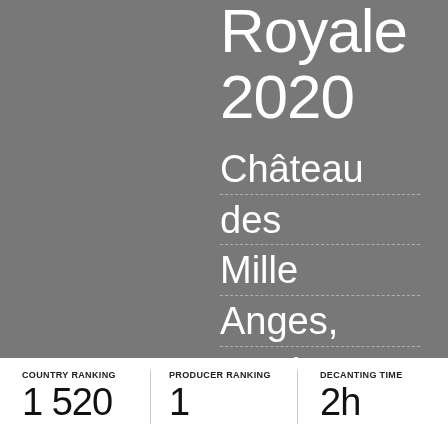Royale 2020
Château des Mille Anges, Bordaux, France
COUNTRY RANKING 1 520
PRODUCER RANKING 1
DECANTING TIME 2h